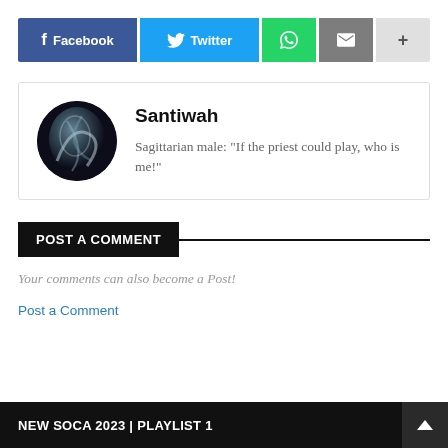[Figure (other): Social sharing buttons: Facebook, Twitter, WhatsApp, Email, More (+)]
[Figure (photo): Circular author avatar showing a dark swirling abstract/smoke image]
Santiwah
Sagittarian male: "If the priest could play, who is me!"
POST A COMMENT
Your comments can also become a Post!
Post a Comment
NEW SOCA 2023 | PLAYLIST 1